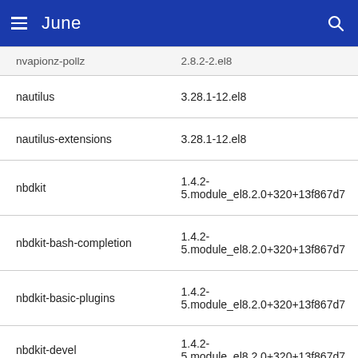June
| Package | Version |
| --- | --- |
| nvapionz-pollz | 2.8.2-2.el8 |
| nautilus | 3.28.1-12.el8 |
| nautilus-extensions | 3.28.1-12.el8 |
| nbdkit | 1.4.2-5.module_el8.2.0+320+13f867d7 |
| nbdkit-bash-completion | 1.4.2-5.module_el8.2.0+320+13f867d7 |
| nbdkit-basic-plugins | 1.4.2-5.module_el8.2.0+320+13f867d7 |
| nbdkit-devel | 1.4.2-5.module_el8.2.0+320+13f867d7 |